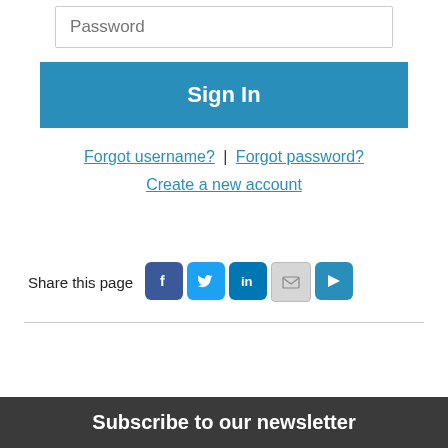[Figure (other): Password input field with placeholder text 'Password']
[Figure (other): Sign In button in blue]
Forgot username? | Forgot password?
Create a new account
Share this page
[Figure (other): Social sharing icons: Facebook, Twitter, LinkedIn, Email, More]
Subscribe to our newsletter